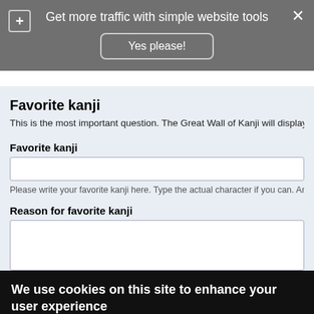[Figure (screenshot): Top grey banner with plus icon, close icon, text 'Get more traffic with simple website tools', and 'Yes please!' button]
Favorite kanji
This is the most important question. The Great Wall of Kanji will display your favori
Favorite kanji
Please write your favorite kanji here. Type the actual character if you can. And then add the
Reason for favorite kanji
We use cookies on this site to enhance your user experience
By clicking any link on this page you are giving your consent for us to set cookies.